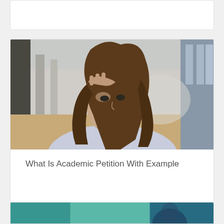[Figure (other): Partial card at top of page, mostly white/blank]
[Figure (photo): Photo of a stressed young woman with long brown hair resting her hand on her forehead, sitting in a hallway or academic building. Below the photo is the article title 'What Is Academic Petition With Example'.]
What Is Academic Petition With Example
[Figure (photo): Partial card at the bottom of the page showing a teal/green tinted photo, partially visible]